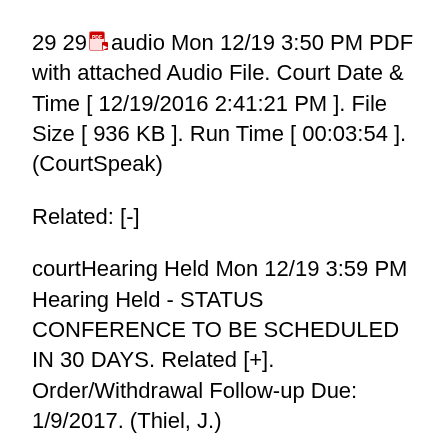29 29 [pdf-icon] audio Mon 12/19 3:50 PM PDF with attached Audio File. Court Date & Time [ 12/19/2016 2:41:21 PM ]. File Size [ 936 KB ]. Run Time [ 00:03:54 ]. (CourtSpeak)
Related: [-]
courtHearing Held Mon 12/19 3:59 PM Hearing Held - STATUS CONFERENCE TO BE SCHEDULED IN 30 DAYS. Related [+]. Order/Withdrawal Follow-up Due: 1/9/2017. (Thiel, J.)
Related: [-] 1 Complaint filed by Plaintiff Magnolia State Bank, a division of Bank of Eastman.23 Scheduling Order